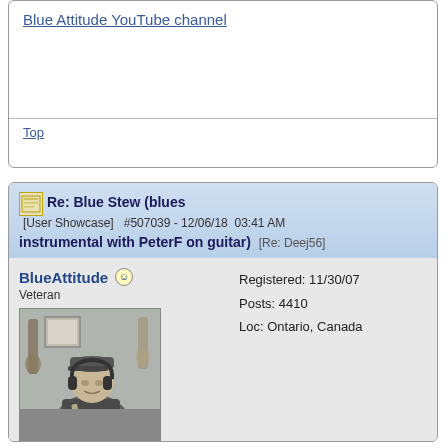Blue Attitude YouTube channel
Top
Re: Blue Stew (blues [User Showcase] #507039 - 12/06/18 03:41 AM instrumental with PeterF on guitar) [Re: Deej56]
BlueAttitude
Veteran
Registered: 11/30/07
Posts: 4410
Loc: Ontario, Canada
[Figure (photo): Person wearing headphones playing electric guitar in a studio setting, sepia/greyscale toned photo]
Originally Posted By: Deej56
BlueAttitude (and Peter F):